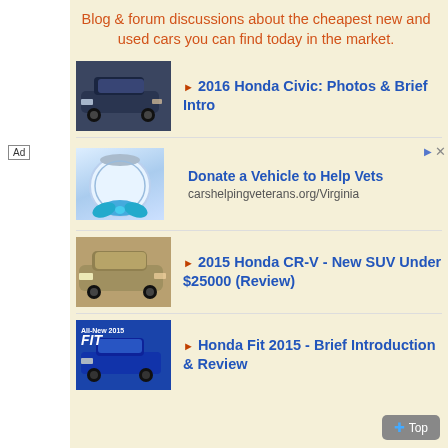Blog & forum discussions about the cheapest new and used cars you can find today in the market.
2016 Honda Civic: Photos & Brief Intro
[Figure (photo): Thumbnail photo of a dark blue Honda Civic sedan]
[Figure (infographic): Advertisement block: Donate a Vehicle to Help Vets - carshelpingveterans.org/Virginia, with a glass jar with a blue bow image]
2015 Honda CR-V - New SUV Under $25000 (Review)
[Figure (photo): Thumbnail photo of a silver Honda CR-V SUV]
Honda Fit 2015 - Brief Introduction & Review
[Figure (photo): Thumbnail photo of a blue All-New 2015 Honda Fit]